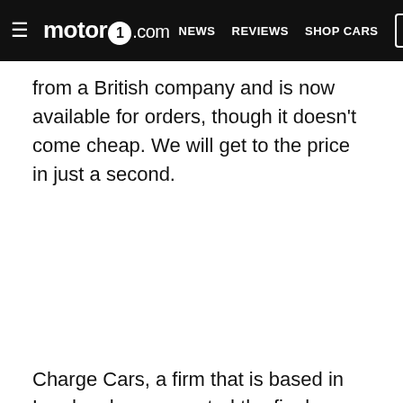motor1.com  NEWS  REVIEWS  SHOP CARS
from a British company and is now available for orders, though it doesn't come cheap. We will get to the price in just a second.
[Figure (photo): Large image placeholder area (black/white space) in the middle of the article]
Charge Cars, a firm that is based in London, has presented the final production version of its electric